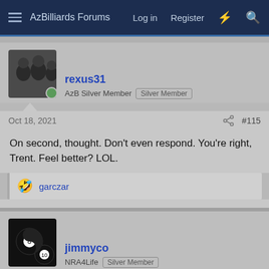AzBilliards Forums  Log in  Register
rexus31
AzB Silver Member  Silver Member
Oct 18, 2021  #115
On second, thought. Don't even respond. You're right, Trent. Feel better? LOL.
garczar
jimmyco
NRA4Life  Silver Member
Oct 18, 2021  #116
rexus31 said: